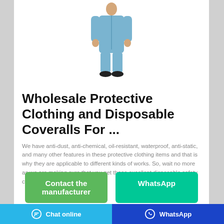[Figure (photo): Person wearing light blue protective coverall suit with dark shoes, full body view]
Wholesale Protective Clothing and Disposable Coveralls For ...
We have anti-dust, anti-chemical, oil-resistant, waterproof, anti-static, and many other features in these protective clothing items and that is why they are applicable to different kinds of works. So, wait no more as we are making sure that you get these excellent disposable safety clothing items at ...
Contact the manufacturer
WhatsApp
Chat online | WhatsApp